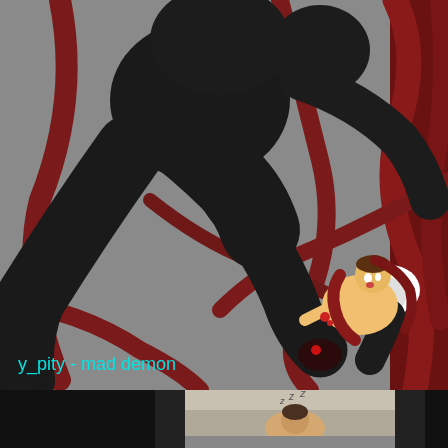[Figure (illustration): Digital illustration titled 'y_pity - mad demon'. Shows a large black demon/monster figure interacting with a smaller human character. The background is gray with dark red tentacle-like appendages. The smaller figure appears distressed, wrapped in red tendrils on the right side. Watermark text 'y_pity - mad demon' in cyan at bottom left of image.]
[Figure (photo): Bottom strip showing a partial photo of a person, flanked by black panels on left and right. The center portion shows what appears to be a room scene with a person visible.]